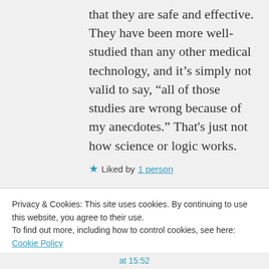that they are safe and effective. They have been more well-studied than any other medical technology, and it's simply not valid to say, “all of those studies are wrong because of my anecdotes.” That's just not how science or logic works.
★ Liked by 1 person
Privacy & Cookies: This site uses cookies. By continuing to use this website, you agree to their use.
To find out more, including how to control cookies, see here: Cookie Policy
Close and accept
at 15:52